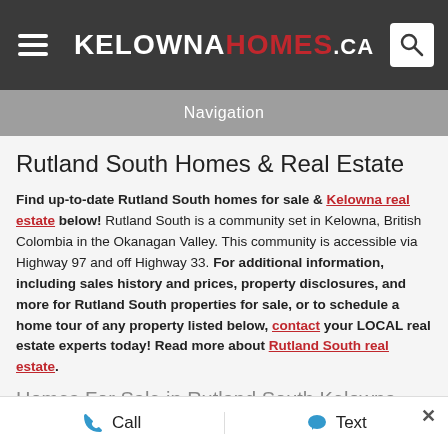KelownaHomes.ca
Navigation
Rutland South Homes & Real Estate
Find up-to-date Rutland South homes for sale & Kelowna real estate below! Rutland South is a community set in Kelowna, British Colombia in the Okanagan Valley. This community is accessible via Highway 97 and off Highway 33. For additional information, including sales history and prices, property disclosures, and more for Rutland South properties for sale, or to schedule a home tour of any property listed below, contact your LOCAL real estate experts today! Read more about Rutland South real estate.
Homes For Sale in Rutland South Kelowna
Call   Text